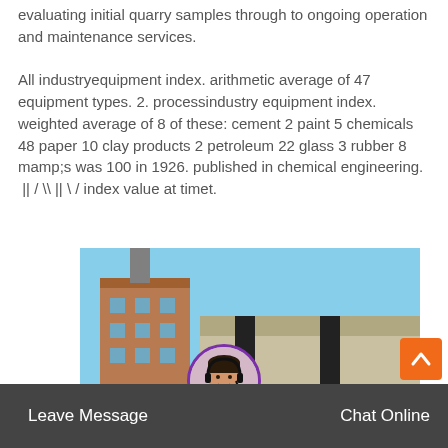evaluating initial quarry samples through to ongoing operation and maintenance services.
All industryequipment index. arithmetic average of 47 equipment types. 2. processindustry equipment index. weighted average of 8 of these: cement 2 paint 5 chemicals 48 paper 10 clay products 2 petroleum 22 glass 3 rubber 8 mamp;s was 100 in 1926. published in chemical engineering.  || / \ || \ /  index value at timet.
[Figure (photo): Industrial rotary kiln or large cylindrical drum at a cement or processing facility, with a multi-story building structure in the background and metal support structures.]
Leave Message   Chat Online